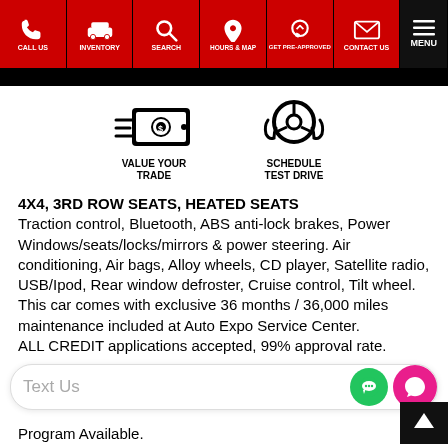CALL US | INVENTORY | SEARCH | HOURS & MAP | GET PRE-APPROVED | CONTACT US | Menu
[Figure (logo): Value Your Trade icon — dollar bill with speed lines and text VALUE YOUR TRADE below]
[Figure (logo): Schedule Test Drive icon — steering wheel with hands and text SCHEDULE TEST DRIVE below]
4X4, 3RD ROW SEATS, HEATED SEATS
Traction control, Bluetooth, ABS anti-lock brakes, Power Windows/seats/locks/mirrors & power steering. Air conditioning, Air bags, Alloy wheels, CD player, Satellite radio, USB/Ipod, Rear window defroster, Cruise control, Tilt wheel.
This car comes with exclusive 36 months / 36,000 miles maintenance included at Auto Expo Service Center.
ALL CREDIT applications accepted, 99% approval rate.
Text Us
Program Available.